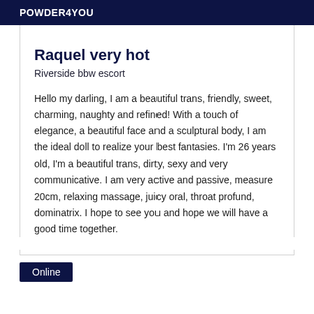POWDER4YOU
Raquel very hot
Riverside bbw escort
Hello my darling, I am a beautiful trans, friendly, sweet, charming, naughty and refined! With a touch of elegance, a beautiful face and a sculptural body, I am the ideal doll to realize your best fantasies. I'm 26 years old, I'm a beautiful trans, dirty, sexy and very communicative. I am very active and passive, measure 20cm, relaxing massage, juicy oral, throat profund, dominatrix. I hope to see you and hope we will have a good time together.
Online